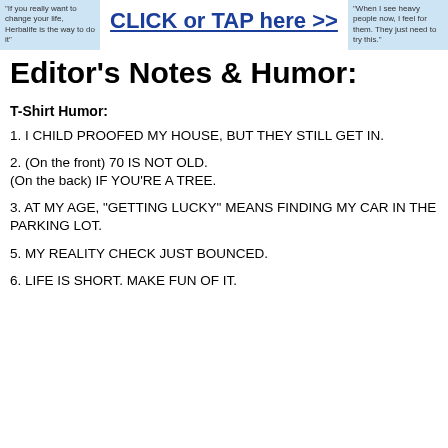[Figure (infographic): Top banner with two blue quote boxes on the left and right, and a 'CLICK or TAP here >>' link/button in the center.]
Editor's Notes & Humor:
T-Shirt Humor:
1. I CHILD PROOFED MY HOUSE, BUT THEY STILL GET IN.
2. (On the front) 70 IS NOT OLD.
(On the back) IF YOU'RE A TREE.
3. AT MY AGE, "GETTING LUCKY" MEANS FINDING MY CAR IN THE PARKING LOT.
5. MY REALITY CHECK JUST BOUNCED.
6. LIFE IS SHORT. MAKE FUN OF IT.